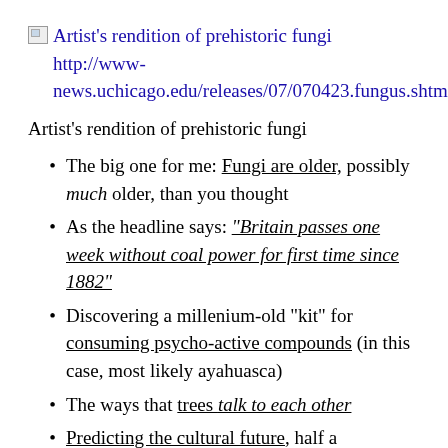[Figure (other): Broken image placeholder followed by alt text and URL: Artist's rendition of prehistoric fungi http://www-news.uchicago.edu/releases/07/070423.fungus.shtml]
Artist's rendition of prehistoric fungi
The big one for me: Fungi are older, possibly much older, than you thought
As the headline says: "Britain passes one week without coal power for first time since 1882"
Discovering a millenium-old “kit” for consuming psycho-active compounds (in this case, most likely ayahuasca)
The ways that trees talk to each other
Predicting the cultural future, half a